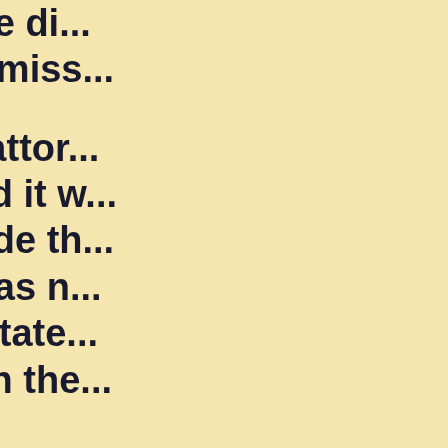portion of the di... County Commiss...
The district attor... the state said it w... counties made th... this year it has n... next year's state... counties with the...
Elk County is no... hopes he can ge... to file a lawsuit.
Editor's note: Po...
Posted by Selmo...